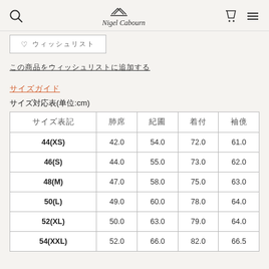Nigel Cabourn
♡ ウィッシュリスト
この商品をウィッシュリストに追加する
サイズガイド
サイズ対応表(単位:cm)
| サイズ表記 | 肩幅 | 胸囲 | 着丈 | 袖丈 |
| --- | --- | --- | --- | --- |
| 44(XS) | 42.0 | 54.0 | 72.0 | 61.0 |
| 46(S) | 44.0 | 55.0 | 73.0 | 62.0 |
| 48(M) | 47.0 | 58.0 | 75.0 | 63.0 |
| 50(L) | 49.0 | 60.0 | 78.0 | 64.0 |
| 52(XL) | 50.0 | 63.0 | 79.0 | 64.0 |
| 54(XXL) | 52.0 | 66.0 | 82.0 | 66.5 |